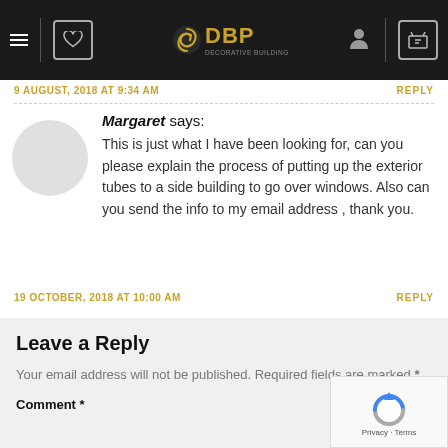DBP Decorative Building Products — navigation header
9 AUGUST, 2018 AT 9:34 AM
REPLY
Margaret says: This is just what I have been looking for, can you please explain the process of putting up the exterior tubes to a side building to go over windows. Also can you send the info to my email address , thank you.
19 OCTOBER, 2018 AT 10:00 AM
REPLY
Leave a Reply
Your email address will not be published. Required fields are marked *
Comment *